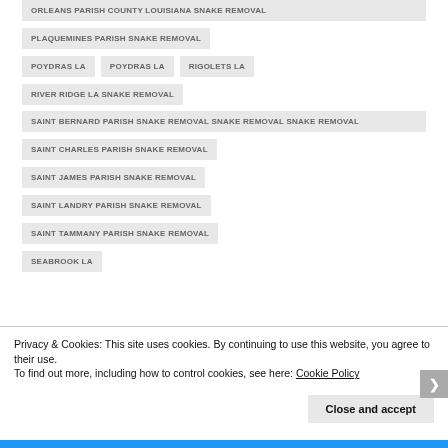ORLEANS PARISH COUNTY LOUISIANA SNAKE REMOVAL
PLAQUEMINES PARISH SNAKE REMOVAL
POYDRAS LA
POYDRAS LA
RIGOLETS LA
RIVER RIDGE LA SNAKE REMOVAL
SAINT BERNARD PARISH SNAKE REMOVAL SNAKE REMOVAL SNAKE REMOVAL
SAINT CHARLES PARISH SNAKE REMOVAL
SAINT JAMES PARISH SNAKE REMOVAL
SAINT LANDRY PARISH SNAKE REMOVAL
SAINT TAMMANY PARISH SNAKE REMOVAL
SEABROOK LA
Privacy & Cookies: This site uses cookies. By continuing to use this website, you agree to their use.
To find out more, including how to control cookies, see here: Cookie Policy
Close and accept